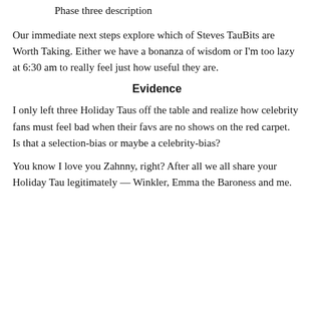Phase three description
Our immediate next steps explore which of Steves TauBits are Worth Taking. Either we have a bonanza of wisdom or I'm too lazy at 6:30 am to really feel just how useful they are.
Evidence
I only left three Holiday Taus off the table and realize how celebrity fans must feel bad when their favs are no shows on the red carpet.  Is that a selection-bias or maybe a celebrity-bias?
You know I love you Zahnny, right? After all we all share your Holiday Tau legitimately — Winkler, Emma the Baroness and me.